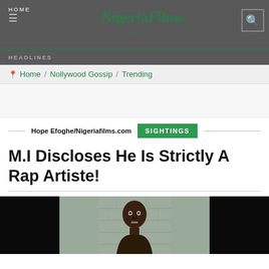NigeriaFilms.com
HOME / HEADLINES
Home / Nollywood Gossip / Trending
Hope Efoghe/Nigeriafilms.com  SIGHTINGS
M.I Discloses He Is Strictly A Rap Artiste!
[Figure (photo): Photo of M.I (rapper), a young Black man looking directly at camera, against a grey stone wall background, flanked by black panels on left and right sides]